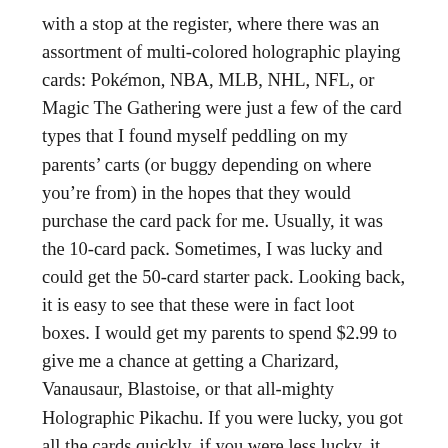with a stop at the register, where there was an assortment of multi-colored holographic playing cards: Pokémon, NBA, MLB, NHL, NFL, or Magic The Gathering were just a few of the card types that I found myself peddling on my parents' carts (or buggy depending on where you're from) in the hopes that they would purchase the card pack for me. Usually, it was the 10-card pack. Sometimes, I was lucky and could get the 50-card starter pack. Looking back, it is easy to see that these were in fact loot boxes. I would get my parents to spend $2.99 to give me a chance at getting a Charizard, Vanausaur, Blastoise, or that all-mighty Holographic Pikachu. If you were lucky, you got all the cards quickly, if you were less lucky, it might take several trips to the supermarket and creative bargaining with parents. Most people were not that lucky.